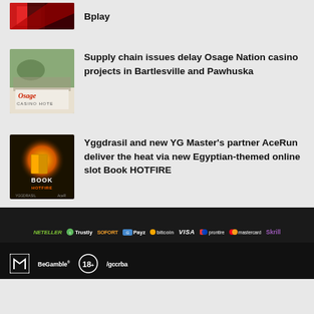Bplay
Supply chain issues delay Osage Nation casino projects in Bartlesville and Pawhuska
Yggdrasil and new YG Master's partner AceRun deliver the heat via new Egyptian-themed online slot Book HOTFIRE
[Figure (infographic): Payment logos footer: NETELLER, Trustly, SOFORT, Payz, bitcoin, VISA, Prontire, mastercard, Skrill]
[Figure (logo): Responsible gambling logos: BeGamble, 18+, Gccrba]